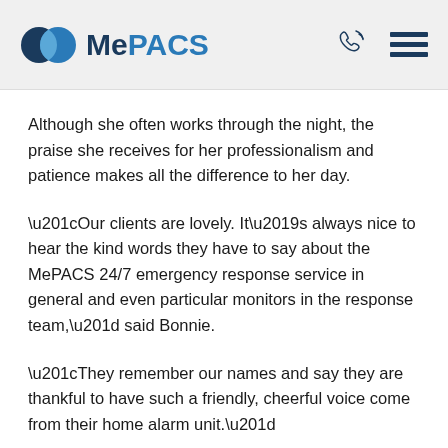[Figure (logo): MePACS logo with two overlapping circles (dark blue and light blue) and the word MePACS in blue text]
Although she often works through the night, the praise she receives for her professionalism and patience makes all the difference to her day.
“Our clients are lovely. It’s always nice to hear the kind words they have to say about the MePACS 24/7 emergency response service in general and even particular monitors in the response team,” said Bonnie.
“They remember our names and say they are thankful to have such a friendly, cheerful voice come from their home alarm unit.”